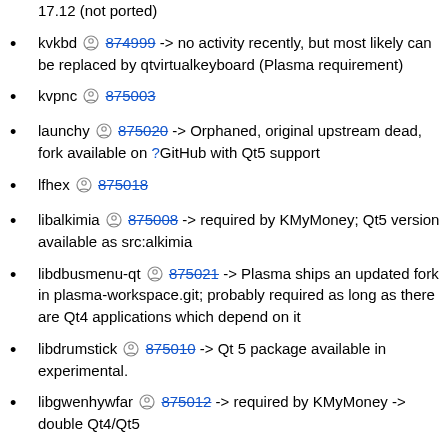17.12 (not ported)
kvkbd 874999 -> no activity recently, but most likely can be replaced by qtvirtualkeyboard (Plasma requirement)
kvpnc 875003
launchy 875020 -> Orphaned, original upstream dead, fork available on ?GitHub with Qt5 support
lfhex 875018
libalkimia 875008 -> required by KMyMoney; Qt5 version available as src:alkimia
libdbusmenu-qt 875021 -> Plasma ships an updated fork in plasma-workspace.git; probably required as long as there are Qt4 applications which depend on it
libdrumstick 875010 -> Qt 5 package available in experimental.
libgwenhywfar 875012 -> required by KMyMoney -> double Qt4/Qt5